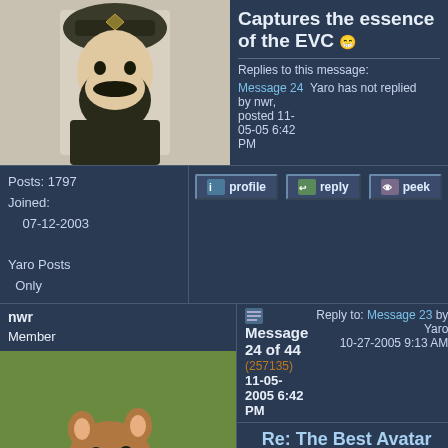[Figure (photo): Avatar image of a bearded man in an ornate hat (historical/religious figure style)]
Captures the essence of the EVC
Replies to this message:
Message 24 by nwr, posted 11-05-05 6:42 PM
Yaro has not replied
Posts: 1797
Joined:
  07-12-2003
Yaro Posts Only
[Figure (other): Profile button icon]
[Figure (other): Reply button icon]
[Figure (other): Peek button icon]
nwr
Member
Message 24 of 44
(257135)
11-05-2005 6:42 PM
Reply to: Message 23 by Yaro
10-27-2005 9:13 AM
[Figure (photo): Avatar image of a squirrel eating a nut]
Re: The Best Avatar Ever
Test post.
This message is a reply to:
Message 23 by Yaro, posted 10-27-2005 9:13 AM
Yaro has not replied
Posts: 6040
From:
  Geneva, Illinois
[Figure (other): Profile button]
[Figure (other): Reply button]
[Figure (other): Peek button]